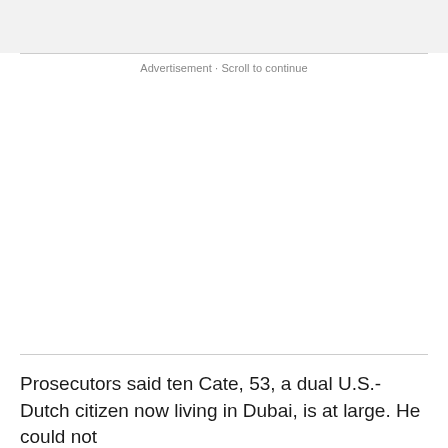Advertisement · Scroll to continue
Prosecutors said ten Cate, 53, a dual U.S.-Dutch citizen now living in Dubai, is at large. He could not